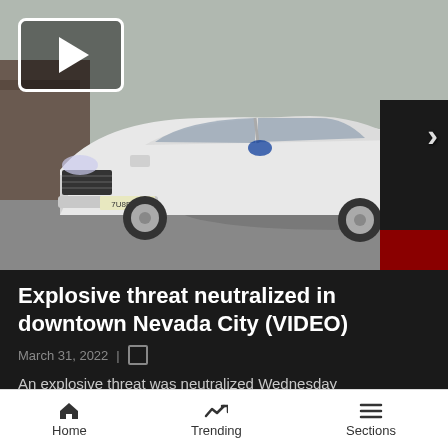[Figure (photo): White Ford sedan car parked on street, with another vehicle partially visible on the right. A video play button icon with rounded rectangle border is overlaid top-left, and a right-pointing chevron arrow on the right edge.]
Explosive threat neutralized in downtown Nevada City (VIDEO)
March 31, 2022 |
An explosive threat was neutralized Wednesday afternoon in downtown Nevada City after an ordeal th began... expl
[Figure (screenshot): Walmart advertisement for Delectables cat treats, showing cat photo and Walmart logo with spark burst.]
Home   Trending   Sections